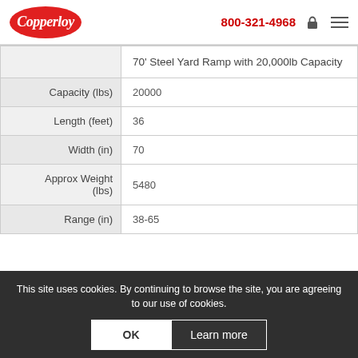Copperloy 800-321-4968
|  |  |
| --- | --- |
|  | 70' Steel Yard Ramp with 20,000lb Capacity |
| Capacity (lbs) | 20000 |
| Length (feet) | 36 |
| Width (in) | 70 |
| Approx Weight (lbs) | 5480 |
| Range (in) | 38-65 |
This site uses cookies. By continuing to browse the site, you are agreeing to our use of cookies.